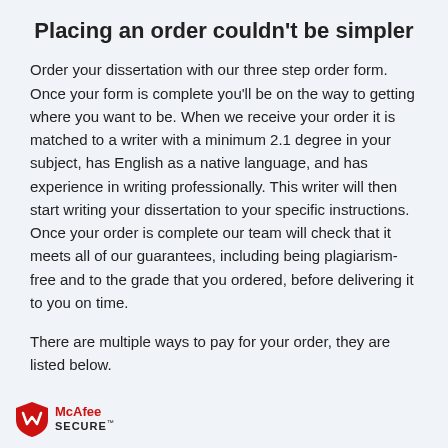Placing an order couldn't be simpler
Order your dissertation with our three step order form. Once your form is complete you'll be on the way to getting where you want to be. When we receive your order it is matched to a writer with a minimum 2.1 degree in your subject, has English as a native language, and has experience in writing professionally. This writer will then start writing your dissertation to your specific instructions. Once your order is complete our team will check that it meets all of our guarantees, including being plagiarism-free and to the grade that you ordered, before delivering it to you on time.
There are multiple ways to pay for your order, they are listed below.
[Figure (logo): McAfee SECURE logo with red shield icon]